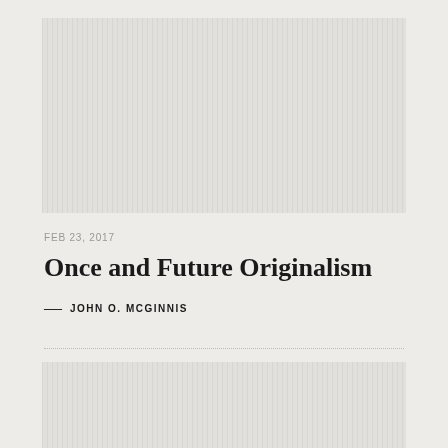[Figure (illustration): Placeholder image area with vertical stripe pattern at the top of the page]
FEB 23, 2017
Once and Future Originalism
— JOHN O. MCGINNIS
[Figure (illustration): Placeholder image area with vertical stripe pattern at the bottom of the page]